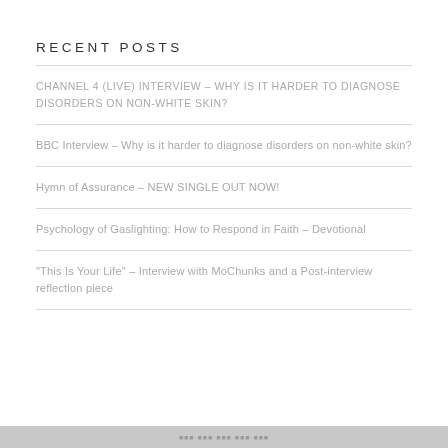RECENT POSTS
CHANNEL 4 (LIVE) INTERVIEW – WHY IS IT HARDER TO DIAGNOSE DISORDERS ON NON-WHITE SKIN?
BBC Interview – Why is it harder to diagnose disorders on non-white skin?
Hymn of Assurance – NEW SINGLE OUT NOW!
Psychology of Gaslighting: How to Respond in Faith – Devotional
“This Is Your Life” – Interview with MoChunks and a Post-interview reflection piece